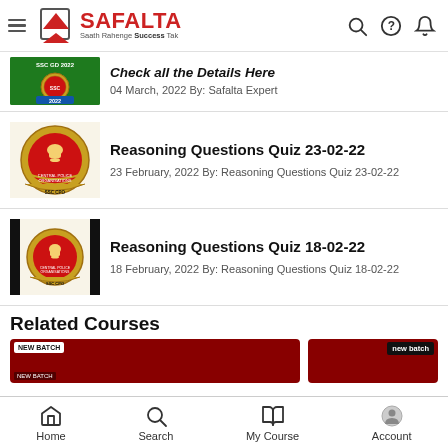SAFALTA — Saath Rahenge Success Tak
[Figure (screenshot): Partially visible SSC article thumbnail with green background and SSC logo badge, year 2022]
Check all the Details Here
04 March, 2022 By: Safalta Expert
[Figure (illustration): SSC Central Police Organizations emblem badge with lion capital and golden wreath]
Reasoning Questions Quiz 23-02-22
23 February, 2022 By: Reasoning Questions Quiz 23-02-22
[Figure (illustration): SSC Central Police Organizations emblem badge with lion capital and golden wreath, with black bars on left and right]
Reasoning Questions Quiz 18-02-22
18 February, 2022 By: Reasoning Questions Quiz 18-02-22
Related Courses
[Figure (screenshot): Red banner cards for Related Courses showing NEW BATCH label]
Home  Search  My Course  Account